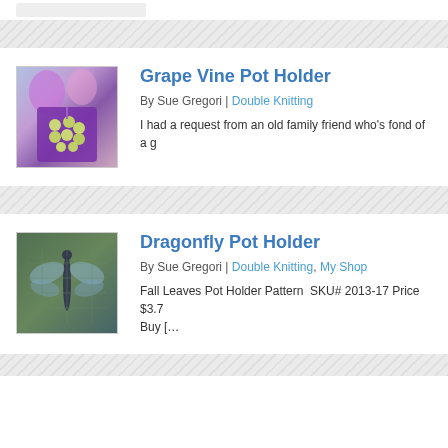[Figure (photo): Grape Vine Pot Holder thumbnail - a purple crocheted pot holder with grape design on a colorful background]
Grape Vine Pot Holder
By Sue Gregori | Double Knitting
I had a request from an old family friend who's fond of a g
[Figure (photo): Dragonfly Pot Holder thumbnail - a knitted pot holder with dragonfly pattern in green and brown tones]
Dragonfly Pot Holder
By Sue Gregori | Double Knitting, My Shop
Fall Leaves Pot Holder Pattern  SKU# 2013-17 Price $3.7
Buy [&hellip